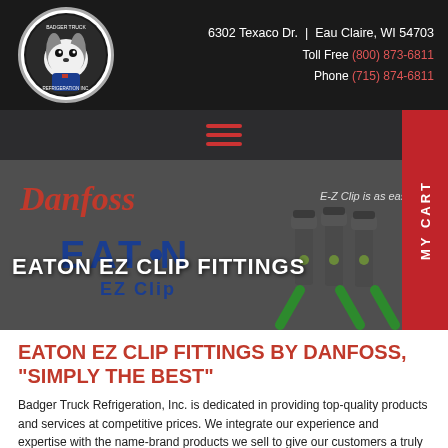6302 Texaco Dr. | Eau Claire, WI 54703  Toll Free (800) 873-6811  Phone (715) 874-6811
[Figure (logo): Badger Truck Refrigeration Inc. circular logo with badger mascot in blue outfit]
[Figure (screenshot): Hero banner showing Danfoss and Eaton EZ Clip branding with product images of EZ Clip fittings and green pliers]
EATON EZ CLIP FITTINGS
EATON EZ CLIP FITTINGS BY DANFOSS, "SIMPLY THE BEST"
Badger Truck Refrigeration, Inc. is dedicated in providing top-quality products and services at competitive prices. We integrate our experience and expertise with the name-brand products we sell to give our customers a truly unique package to custom-fit their needs. We work with all levels of our market